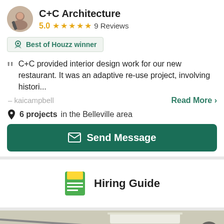C+C Architecture
5.0  ★★★★★  9 Reviews
Best of Houzz winner
C+C provided interior design work for our new restaurant. It was an adaptive re-use project, involving histori...
— kaicampbell    Read More >
6 projects in the Belleville area
Send Message
Hiring Guide
[Figure (photo): Bottom strip showing interior photo with ceiling light fixture and camera, with 1/7 page indicator overlay]